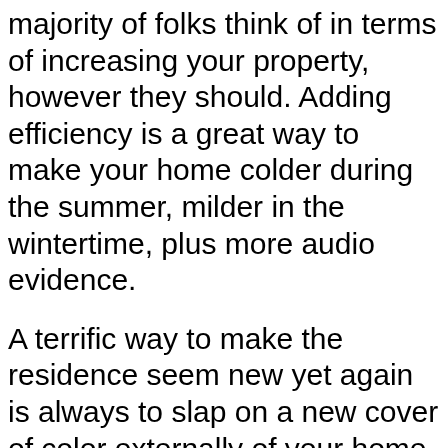majority of folks think of in terms of increasing your property, however they should. Adding efficiency is a great way to make your home colder during the summer, milder in the wintertime, plus more audio evidence.
A terrific way to make the residence seem new yet again is always to slap on a new cover of color externally of your home. If you choose a brighter colour, your property will radiance similar to a new pearl and you will be the covet of everybody on your local community block.
Often standard and economical methods of working with squeaky doorways might do the job. Listed here is a cheap substitute you could consider: Take away the hinge pin as standard, and rub it with standard nightclub cleaning soap. Then swap the